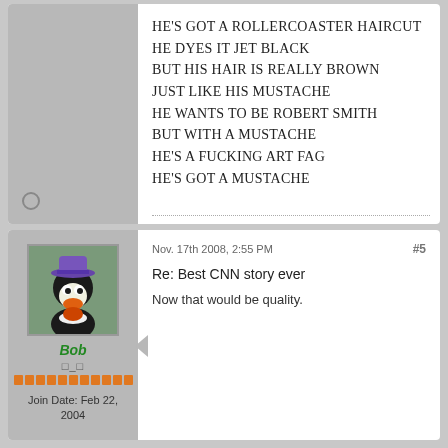HE'S GOT A ROLLERCOASTER HAIRCUT
HE DYES IT JET BLACK
BUT HIS HAIR IS REALLY BROWN
JUST LIKE HIS MUSTACHE
HE WANTS TO BE ROBERT SMITH
BUT WITH A MUSTACHE
HE'S A FUCKING ART FAG
HE'S GOT A MUSTACHE
Nov. 17th 2008, 2:55 PM
#5
Re: Best CNN story ever
Now that would be quality.
[Figure (illustration): Daffy Duck cartoon avatar with purple hat]
Bob
□_□
Join Date: Feb 22, 2004